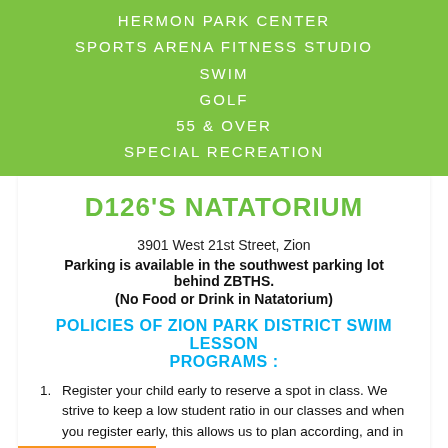HERMON PARK CENTER
SPORTS ARENA FITNESS STUDIO
SWIM
GOLF
55 & OVER
SPECIAL RECREATION
D126'S NATATORIUM
3901 West 21st Street, Zion
Parking is available in the southwest parking lot behind ZBTHS.
(No Food or Drink in Natatorium)
POLICIES OF ZION PARK DISTRICT SWIM LESSON PROGRAMS :
Register your child early to reserve a spot in class. We strive to keep a low student ratio in our classes and when you register early, this [allows us to] plan according, and in turn serve you better.
[Please] talk with your child's swimming instructor and find